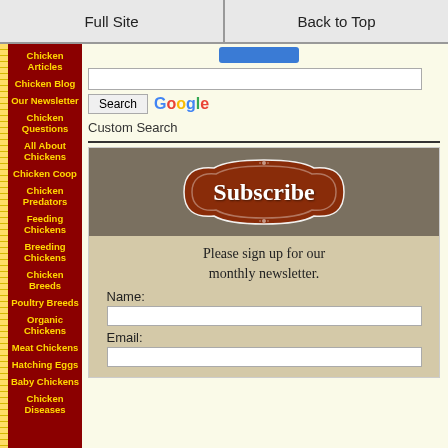Full Site | Back to Top
Chicken Articles
Chicken Blog
Our Newsletter
Chicken Questions
All About Chickens
Chicken Coop
Chicken Predators
Feeding Chickens
Breeding Chickens
Chicken Breeds
Poultry Breeds
Organic Chickens
Meat Chickens
Hatching Eggs
Baby Chickens
Chicken Diseases
Custom Search
[Figure (infographic): Subscribe badge on brown banner with ornate red badge shape containing the word Subscribe in white bold text]
Please sign up for our monthly newsletter.
Name:
Email: